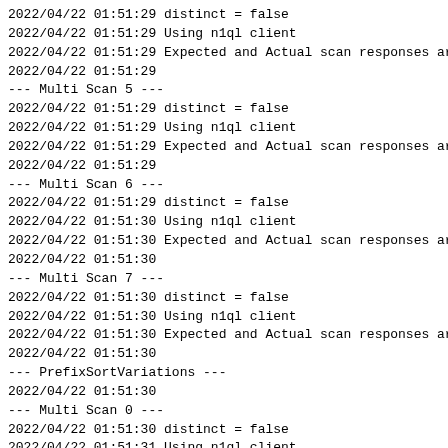2022/04/22 01:51:29 distinct = false
2022/04/22 01:51:29 Using n1ql client
2022/04/22 01:51:29 Expected and Actual scan responses ar
2022/04/22 01:51:29
--- Multi Scan 5 ---
2022/04/22 01:51:29 distinct = false
2022/04/22 01:51:29 Using n1ql client
2022/04/22 01:51:29 Expected and Actual scan responses ar
2022/04/22 01:51:29
--- Multi Scan 6 ---
2022/04/22 01:51:29 distinct = false
2022/04/22 01:51:30 Using n1ql client
2022/04/22 01:51:30 Expected and Actual scan responses ar
2022/04/22 01:51:30
--- Multi Scan 7 ---
2022/04/22 01:51:30 distinct = false
2022/04/22 01:51:30 Using n1ql client
2022/04/22 01:51:30 Expected and Actual scan responses ar
2022/04/22 01:51:30
--- PrefixSortVariations ---
2022/04/22 01:51:30
--- Multi Scan 0 ---
2022/04/22 01:51:30 distinct = false
2022/04/22 01:51:31 Using n1ql client
2022/04/22 01:51:31 Expected and Actual scan responses ar
2022/04/22 01:51:31
--- Multi Scan 1 ---
2022/04/22 01:51:31 distinct = false
2022/04/22 01:51:31 Using n1ql client
2022/04/22 01:51:31 Expected and Actual scan responses ar